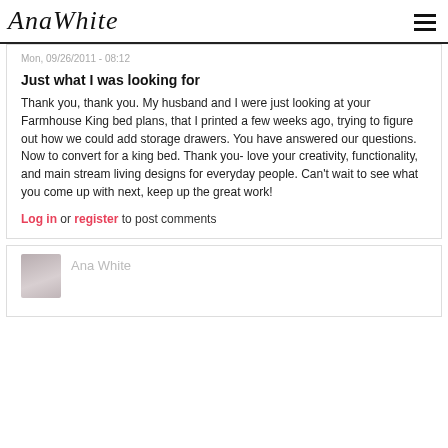AnaWhite
Mon, 09/26/2011 - 08:12
Just what I was looking for
Thank you, thank you. My husband and I were just looking at your Farmhouse King bed plans, that I printed a few weeks ago, trying to figure out how we could add storage drawers. You have answered our questions. Now to convert for a king bed. Thank you- love your creativity, functionality, and main stream living designs for everyday people. Can't wait to see what you come up with next, keep up the great work!
Log in or register to post comments
Ana White